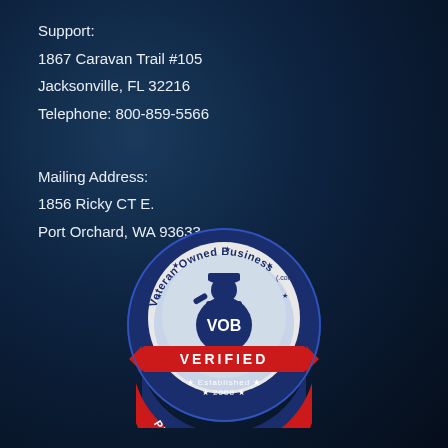Support:
1867 Caravan Trail #105
Jacksonville, FL 32216
Telephone: 800-859-5566
Mailing Address:
1856 Ricky CT E.
Port Orchard, WA 93633
[Figure (logo): Veteran Owned Business (VOB) Verified badge — circular logo with blue background, soldier silhouette, globe, red banner reading VERIFIED, stars, 'Established 2008', and 'PROUD MEMBER' text along bottom arc.]